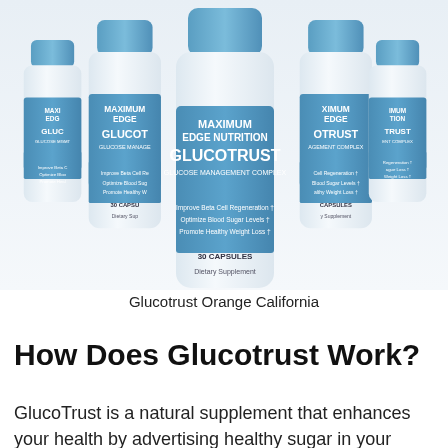[Figure (photo): Five white supplement bottles with blue caps and blue label bands labeled MAXIMUM EDGE GLUCOTRUST GLUCOSE MANAGEMENT COMPLEX, arranged in a fan-like display. The center bottle is most prominent. Labels read: Improve Beta Cell Regeneration, Optimize Blood Sugar Levels, Promote Healthy Weight Loss, 30 Capsules, Dietary Supplement.]
Glucotrust Orange California
How Does Glucotrust Work?
GlucoTrust is a natural supplement that enhances your health by advertising healthy sugar in your